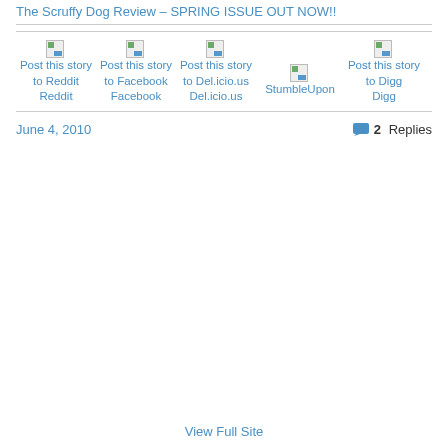The Scruffy Dog Review – SPRING ISSUE OUT NOW!!
[Figure (screenshot): Social sharing buttons row with broken image icons for Reddit, Facebook, Del.icio.us, StumbleUpon, and Digg]
Reddit
Facebook
Del.icio.us
StumbleUpon
Digg
June 4, 2010
2 Replies
View Full Site